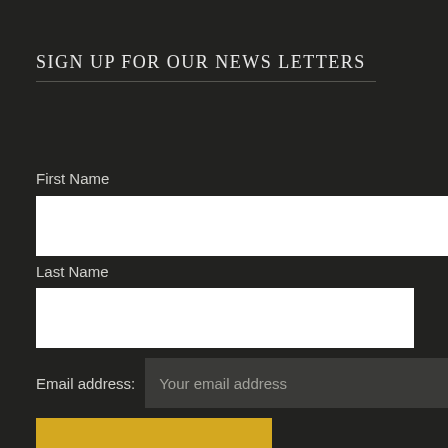SIGN UP FOR OUR NEWS LETTERS
First Name
Last Name
Email address:
Your email address
SIGN UP